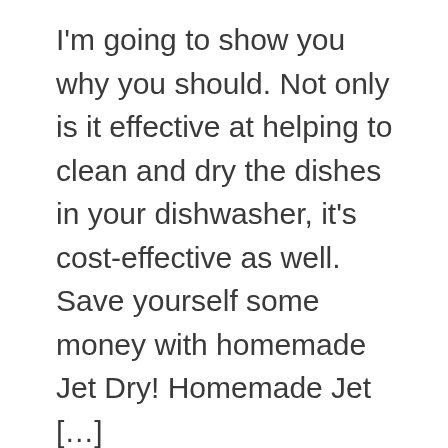I'm going to show you why you should. Not only is it effective at helping to clean and dry the dishes in your dishwasher, it's cost-effective as well. Save yourself some money with homemade Jet Dry! Homemade Jet [...]
Filed Under: Clean, DIY, Hacks, Homemade Products, How to, Kitchen, Products, Tips and Tricks
Tagged With: Cleaning Products, cleaning tips and tricks, dishwasher, Dishwasher Tips, Dishwasher Tricks, diy, DIY Clean, DIY cleaning, DIY Cleaning Recipes,